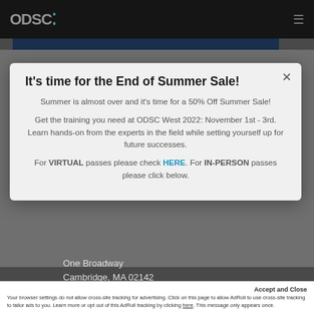ODSC
It's time for the End of Summer Sale!
Summer is almost over and it's time for a 50% Off Summer Sale!
Get the training you need at ODSC West 2022: November 1st - 3rd. Learn hands-on from the experts in the field while setting yourself up for future successes.
For VIRTUAL passes please check HERE. For IN-PERSON passes please click below.
One Broadway
Cambridge, MA 02142
Accept and Close
Your browser settings do not allow cross-site tracking for advertising. Click on this page to allow AdRoll to use cross-site tracking to tailor ads to you. Learn more or opt out of this AdRoll tracking by clicking here. This message only appears once.